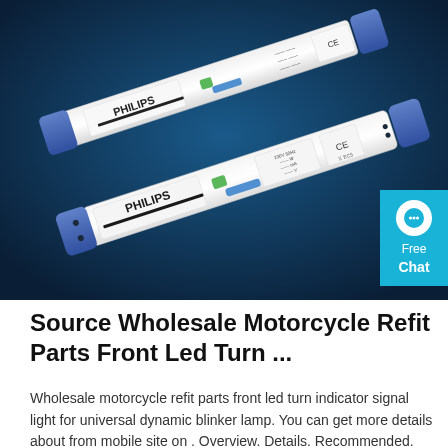[Figure (photo): Two white Philips LED driver/ballast units with blue end caps on a dark blue background, arranged diagonally. Both units have Philips branding and technical specification labels on them.]
Source Wholesale Motorcycle Refit Parts Front Led Turn ...
Wholesale motorcycle refit parts front led turn indicator signal light for universal dynamic blinker lamp. You can get more details about from mobile site on . Overview. Details. Recommended. $1.00 - $5.00.